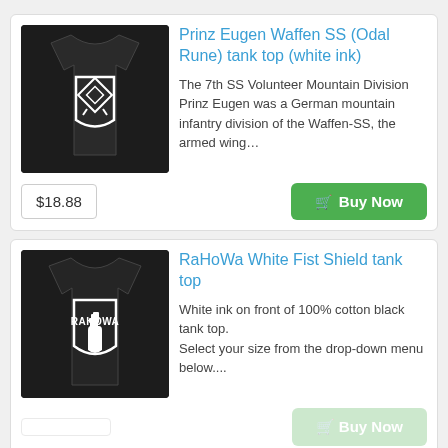[Figure (photo): Black tank top with white Odal Rune shield design on the front, product listing image]
Prinz Eugen Waffen SS (Odal Rune) tank top (white ink)
The 7th SS Volunteer Mountain Division Prinz Eugen was a German mountain infantry division of the Waffen-SS, the armed wing...
$18.88
[Figure (photo): Black tank top with RAHOWA white fist shield design on the front, product listing image]
RaHoWa White Fist Shield tank top
White ink on front of 100% cotton black tank top.
Select your size from the drop-down menu below....